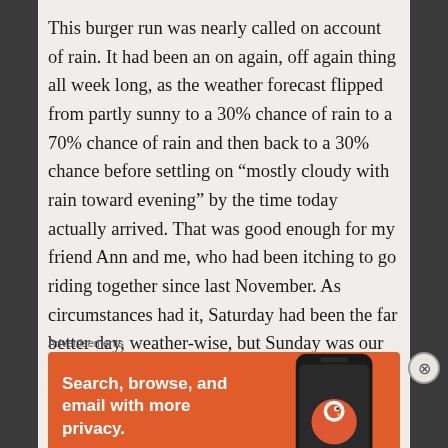This burger run was nearly called on account of rain. It had been an on again, off again thing all week long, as the weather forecast flipped from partly sunny to a 30% chance of rain to a 70% chance of rain and then back to a 30% chance before settling on “mostly cloudy with rain toward evening” by the time today actually arrived. That was good enough for my friend Ann and me, who had been itching to go riding together since last November. As circumstances had it, Saturday had been the far better day, weather-wise, but Sunday was our only mutually available day for riding. It
Advertisements
[Figure (screenshot): DuckDuckGo advertisement banner on orange background. Left side text reads: 'Search, browse, and email with more privacy. All in One Free App'. Right side shows a smartphone with DuckDuckGo logo and text 'DuckDuckGo.']